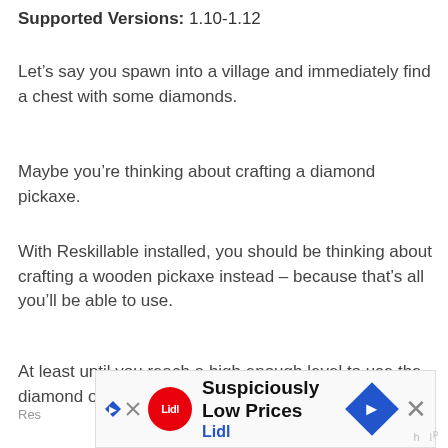Supported Versions: 1.10-1.12
Let’s say you spawn into a village and immediately find a chest with some diamonds.
Maybe you’re thinking about crafting a diamond pickaxe.
With Reskillable installed, you should be thinking about crafting a wooden pickaxe instead – because that’s all you’ll be able to use.
At least until you reach a high enough level to use the diamond one.
[Figure (other): Advertisement banner for Lidl showing 'Suspiciously Low Prices' with Lidl logo, a blue diamond-shaped arrow icon, and a close button]